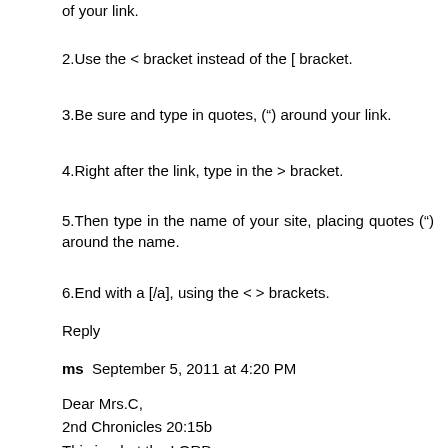of your link.
2.Use the < bracket instead of the [ bracket.
3.Be sure and type in quotes, (”) around your link.
4.Right after the link, type in the > bracket.
5.Then type in the name of your site, placing quotes (”) around the name.
6.End with a [/a], using the < > brackets.
Reply
ms  September 5, 2011 at 4:20 PM
Dear Mrs.C,
2nd Chronicles 20:15b
This is what the LORD says:
Do not be afraid! Do not be discouraged by this mighty army,
forthe battle is not yours, but God’s.